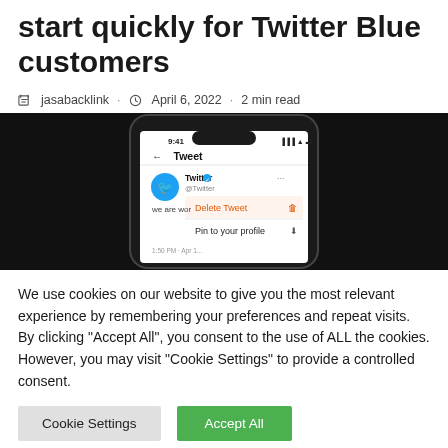start quickly for Twitter Blue customers
jasabacklink · April 6, 2022 · 2 min read
[Figure (screenshot): Smartphone screen showing Twitter app with a tweet menu open, displaying options 'Delete Tweet' (highlighted in orange) and 'Pin to your profile'. The phone shows 9:41 time, Twitter account @Twitter. Background is black.]
We use cookies on our website to give you the most relevant experience by remembering your preferences and repeat visits. By clicking "Accept All", you consent to the use of ALL the cookies. However, you may visit "Cookie Settings" to provide a controlled consent.
Cookie Settings
Accept All